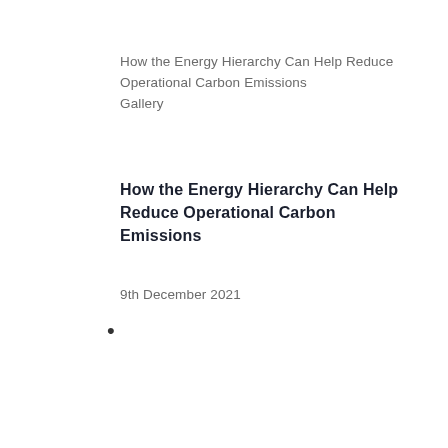How the Energy Hierarchy Can Help Reduce Operational Carbon Emissions
Gallery
How the Energy Hierarchy Can Help Reduce Operational Carbon Emissions
9th December 2021